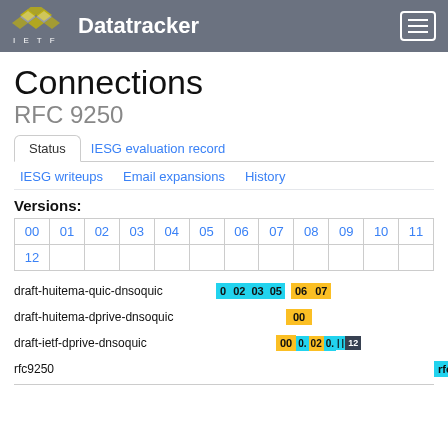IETF Datatracker
Connections
RFC 9250
Status | IESG evaluation record | IESG writeups | Email expansions | History
Versions:
| 00 | 01 | 02 | 03 | 04 | 05 | 06 | 07 | 08 | 09 | 10 | 11 |
| --- | --- | --- | --- | --- | --- | --- | --- | --- | --- | --- | --- |
| 00 | 01 | 02 | 03 | 04 | 05 | 06 | 07 | 08 | 09 | 10 | 11 |
| 12 |
draft-huitema-quic-dnsoquic   00 02 03 05  06 07
draft-huitema-dprive-dnsoquic   00
draft-ietf-dprive-dnsoquic   00 0. 02 0. ...  12
rfc9250   rfc